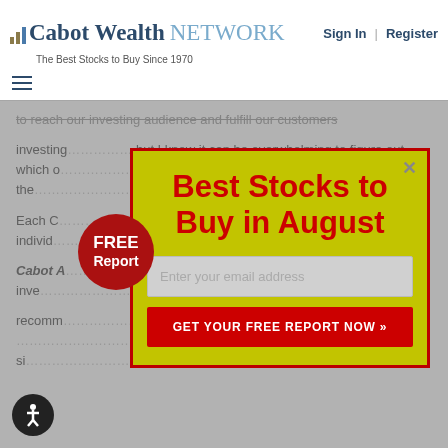Cabot Wealth NETWORK — The Best Stocks to Buy Since 1970
Sign In  |  Register
[Figure (screenshot): Website screenshot of Cabot Wealth Network with a modal popup overlay offering a free report on Best Stocks to Buy in August]
Best Stocks to Buy in August
Enter your email address
GET YOUR FREE REPORT NOW »
FREE Report